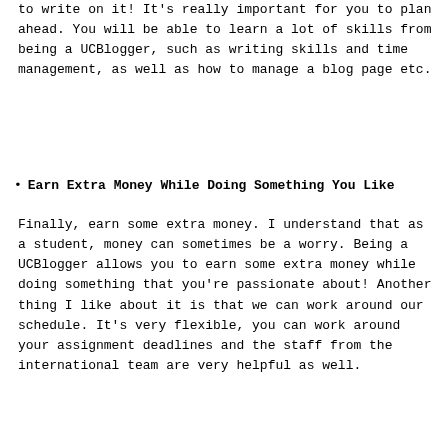to write on it! It's really important for you to plan ahead. You will be able to learn a lot of skills from being a UCBlogger, such as writing skills and time management, as well as how to manage a blog page etc.
Earn Extra Money While Doing Something You Like
Finally, earn some extra money. I understand that as a student, money can sometimes be a worry. Being a UCBlogger allows you to earn some extra money while doing something that you're passionate about! Another thing I like about it is that we can work around our schedule. It's very flexible, you can work around your assignment deadlines and the staff from the international team are very helpful as well.